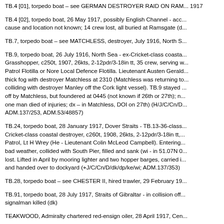TB.4 [01], torpedo boat – see GERMAN DESTROYER RAID ON RAM... 1917
TB.4 [02], torpedo boat, 26 May 1917, possibly English Channel - acc... cause and location not known; 14 crew lost, all buried at Ramsgate (d...
TB.7, torpedo boat – see MATCHLESS, destroyer, July 1916, North S...
TB.9, torpedo boat, 26 July 1916, North Sea - ex-Cricket-class coasta... Grasshopper, c250t, 1907, 26kts, 2-12pdr/3-18in tt, 35 crew, serving w... Patrol Flotilla or Nore Local Defence Flotilla. Lieutenant Austen Gerald... thick fog with destroyer Matchless at 2310 (Matchless was returning to... colliding with destroyer Manley off the Cork light vessel). TB.9 stayed ... off by Matchless, but foundered at 0445 (not known if 26th or 27th); n... one man died of injuries; dx – in Matchless, DOI on 27th) (H/J/C/Cn/D... ADM.137/253, ADM.53/48857)
TB.24, torpedo boat, 28 January 1917, Dover Straits - TB.13-36-class... Cricket-class coastal destroyer, c260t, 1908, 26kts, 2-12pdr/3-18in tt,... Patrol, Lt H Wrey (He - Lieutenant Colin McLeod Campbell). Entering... bad weather, collided with South Pier, filled and sank (wi - in 51.07N 0... lost. Lifted in April by mooring lighter and two hopper barges, carried i... and handed over to dockyard (+J/C/Cn/D/dk/dp/ke/wi; ADM.137/353)
TB.28, torpedo boat – see CHESTER II, hired trawler, 29 February 19...
TB.91, torpedo boat, 28 July 1917, Straits of Gibraltar - in collision off... signalman killed (dk)
TEAKWOOD, Admiralty chartered red-ensign oiler, 28 April 1917, Cen...